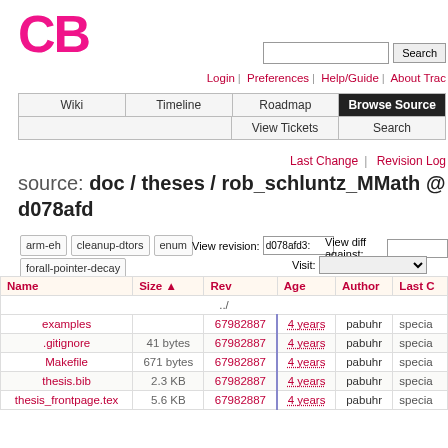[Figure (logo): CA logo in pink/magenta]
Login | Preferences | Help/Guide | About Trac
Wiki | Timeline | Roadmap | Browse Source | View Tickets | Search
Last Change | Revision Log
source: doc / theses / rob_schluntz_MMath @ d078afd
arm-eh cleanup-dtors enum forall-pointer-decay jacob/cs343-translation jenkins-sandbox new-ast new-ast-unique-expr pthread-emulation
View revision: d078afd3: View diff against: Visit:
| Name | Size ▲ | Rev | Age | Author | Last C |
| --- | --- | --- | --- | --- | --- |
| ../ |  |  |  |  |  |
| examples |  | 67982887 | 4 years | pabuhr | specia |
| .gitignore | 41 bytes | 67982887 | 4 years | pabuhr | specia |
| Makefile | 671 bytes | 67982887 | 4 years | pabuhr | specia |
| thesis.bib | 2.3 KB | 67982887 | 4 years | pabuhr | specia |
| thesis_frontpage.tex | 5.6 KB | 67982887 | 4 years | pabuhr | specia |